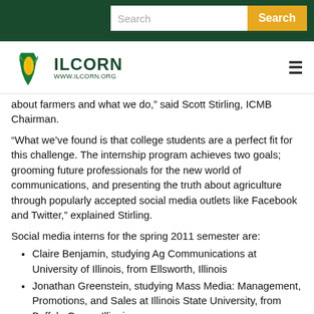Search | Search
[Figure (logo): IL CORN logo with corn icon and www.ilcorn.org URL]
about farmers and what we do," said Scott Stirling, ICMB Chairman.
“What we’ve found is that college students are a perfect fit for this challenge. The internship program achieves two goals; grooming future professionals for the new world of communications, and presenting the truth about agriculture through popularly accepted social media outlets like Facebook and Twitter,” explained Stirling.
Social media interns for the spring 2011 semester are:
Claire Benjamin, studying Ag Communications at University of Illinois, from Ellsworth, Illinois
Jonathan Greenstein, studying Mass Media: Management, Promotions, and Sales at Illinois State University, from Buffalo Grove, Illinois
Ashley LaVela, studying Ag Communications at